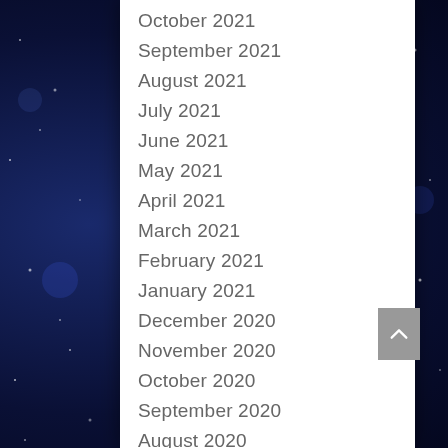October 2021
September 2021
August 2021
July 2021
June 2021
May 2021
April 2021
March 2021
February 2021
January 2021
December 2020
November 2020
October 2020
September 2020
August 2020
July 2020
June 2020